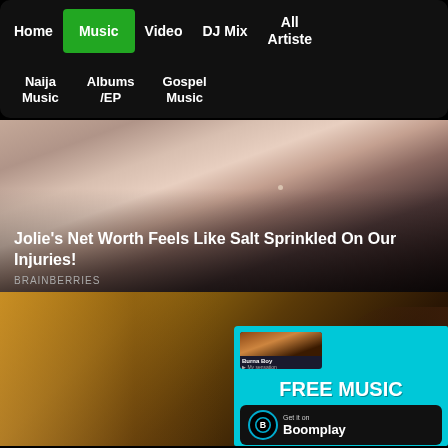Home | Music | Video | DJ Mix | All Artiste | Naija Music | Albums/EP | Gospel Music
[Figure (photo): Close-up photo of a woman with dark hair, red lips, and a small earring. Text overlay reads: Jolie's Net Worth Feels Like Salt Sprinkled On Our Injuries! BRAINBERRIES]
Jolie's Net Worth Feels Like Salt Sprinkled On Our Injuries!
BRAINBERRIES
[Figure (screenshot): Photo of a woman with Boomplay advertisement overlay showing FREE MUSIC and Get it on Boomplay with Burna Boy album art thumbnail]